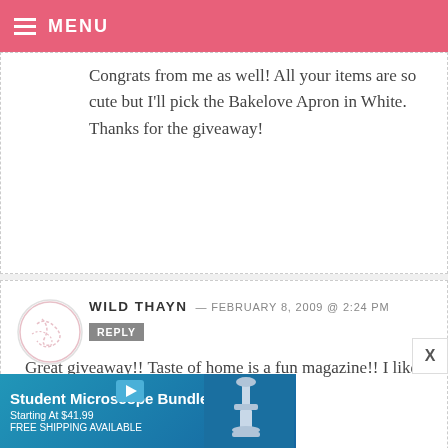MENU
Congrats from me as well! All your items are so cute but I'll pick the Bakelove Apron in White. Thanks for the giveaway!
WILD THAYN — FEBRUARY 8, 2009 @ 2:24 PM
REPLY
Great giveaway!! Taste of home is a fun magazine!! I like the pink apron!

Sarah

wildthayn@yahoo.com
[Figure (other): Student Microscope Bundles advertisement banner — Starting At $41.99, FREE SHIPPING AVAILABLE, with microscope image]